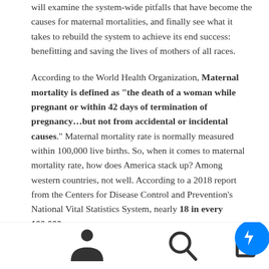will examine the system-wide pitfalls that have become the causes for maternal mortalities, and finally see what it takes to rebuild the system to achieve its end success: benefitting and saving the lives of mothers of all races.
According to the World Health Organization, Maternal mortality is defined as “the death of a woman while pregnant or within 42 days of termination of pregnancy…but not from accidental or incidental causes.” Maternal mortality rate is normally measured within 100,000 live births. So, when it comes to maternal mortality rate, how does America stack up? Among western countries, not well. According to a 2018 report from the Centers for Disease Control and Prevention’s National Vital Statistics System, nearly 18 in every 100,000
[Figure (other): Bottom navigation bar with person icon, search icon, menu icon, and Facebook Messenger chat button (blue circle with white lightning bolt)]